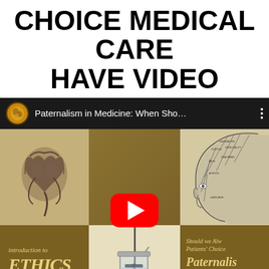CHOICE MEDICAL CARE HAVE VIDEO
[Figure (screenshot): YouTube video thumbnail for 'Paternalism in Medicine: When Sho...' showing a collage of medical ethics imagery including an anatomical heart, phrenology head diagram, introduction to ethics book cover, lab equipment, and paternalism in adult patients text, with a YouTube play button overlay]